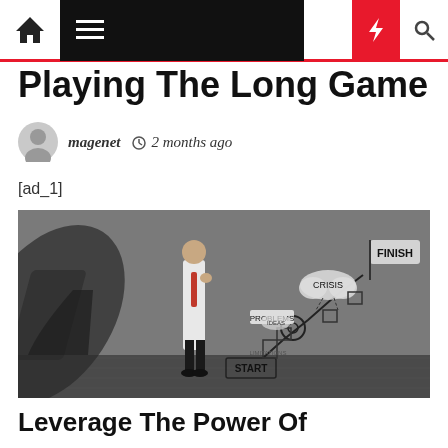Navigation bar with home, menu, moon, lightning, and search icons
Playing The Long Game
magenet  2 months ago
[ad_1]
[Figure (photo): Black and white photo of a man in a white shirt standing before a wall with a drawn path from START through CRISIS, PROBLEMS and obstacles to FINISH, with a superhero shadow cast behind him]
Leverage The Power Of